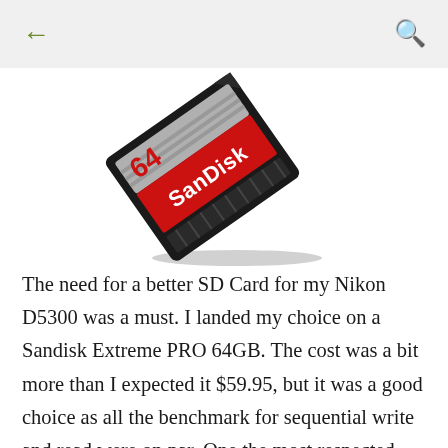← (back) and search icon
[Figure (photo): A SanDisk Extreme PRO 64GB SD card shown at an angle, black body with red label reading 'SanDisk' in white, partially showing '64' in top left corner.]
The need for a better SD Card for my Nikon D5300 was a must. I landed my choice on a Sandisk Extreme PRO 64GB. The cost was a bit more than I expected it $59.95, but it was a good choice as all the benchmark for sequential write and read were on par. One the most respected site for SD card reported averages 87.6MB/s write and an